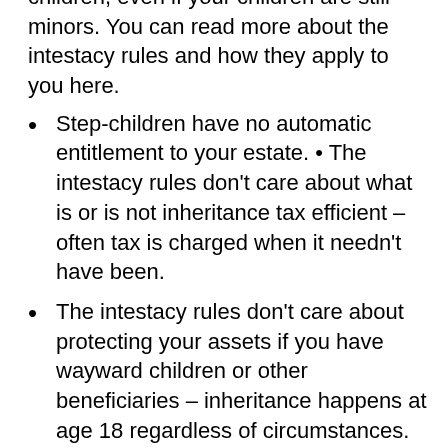children, even if your children are still minors. You can read more about the intestacy rules and how they apply to you here.
Step-children have no automatic entitlement to your estate. • The intestacy rules don't care about what is or is not inheritance tax efficient – often tax is charged when it needn't have been.
The intestacy rules don't care about protecting your assets if you have wayward children or other beneficiaries – inheritance happens at age 18 regardless of circumstances.